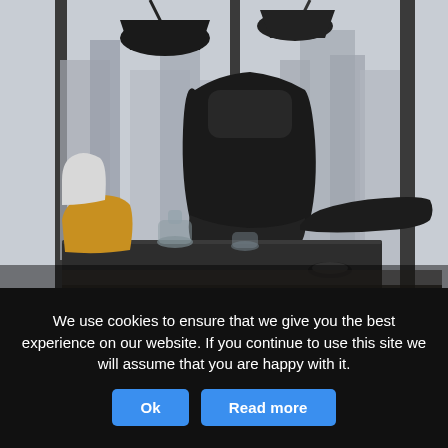[Figure (photo): A high-backed black leather lounge chair with ottoman on a chrome swivel base, positioned in front of floor-to-ceiling windows overlooking a city skyline. A dark table in the foreground holds glass decanters and an ashtray. Pendant lamps hang from above. A yellow/mustard cushion is visible on the left.]
We use cookies to ensure that we give you the best experience on our website. If you continue to use this site we will assume that you are happy with it.
Ok
Read more